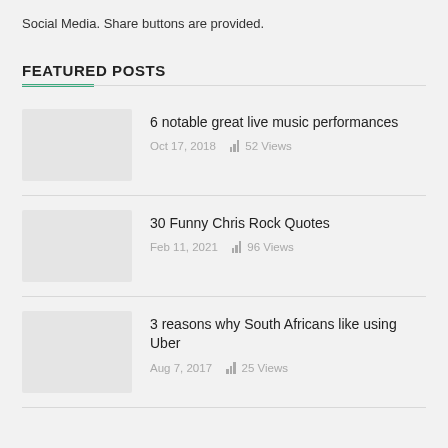Social Media. Share buttons are provided.
FEATURED POSTS
6 notable great live music performances
Oct 17, 2018  52 Views
30 Funny Chris Rock Quotes
Feb 11, 2021  96 Views
3 reasons why South Africans like using Uber
Aug 7, 2017  25 Views